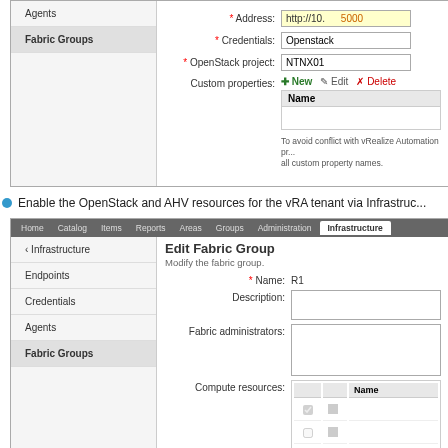[Figure (screenshot): vRA UI screenshot showing endpoint configuration with Fabric Groups nav item, Address field (http://10...5000, highlighted yellow), Credentials (Openstack), OpenStack project (NTNX01), Custom properties section with New/Edit/Delete toolbar and Name column header, and a note about avoiding conflict with vRealize Automation property names.]
Enable the OpenStack and AHV resources for the vRA tenant via Infrastruc...
[Figure (screenshot): vRA UI screenshot showing Infrastructure tab selected in top nav, left panel with Infrastructure, Endpoints, Credentials, Agents, Fabric Groups (active/bold) navigation items, and right panel showing Edit Fabric Group form with Name: R1, Description field (empty textarea), Fabric administrators field (empty textarea), and Compute resources table with Name column header and three rows with checkboxes and icons.]